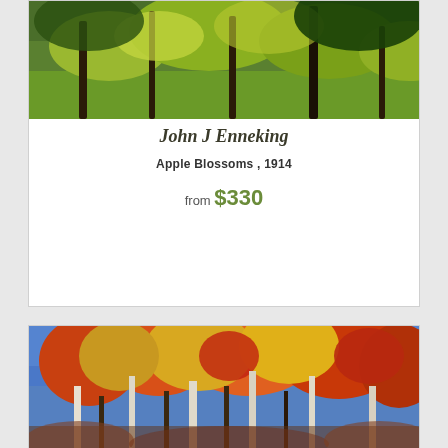[Figure (photo): Painting by John J Enneking showing apple blossoms with green foliage and tree branches, impressionist style]
John J Enneking
Apple Blossoms , 1914
from $330
[Figure (photo): Painting by John J Enneking showing autumn forest scene with tall trees displaying orange, red, and yellow foliage against a blue sky, impressionist style]